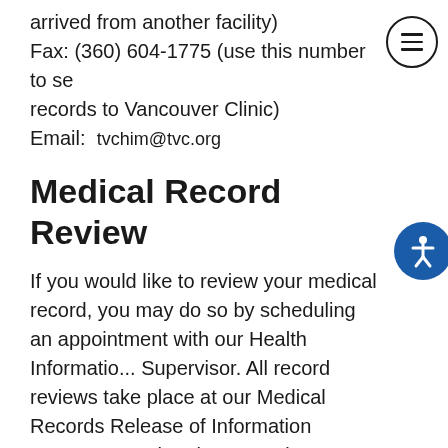arrived from another facility)
Fax: (360) 604-1775 (use this number to send records to Vancouver Clinic)
Email: tvchim@tvc.org
Medical Record Review
If you would like to review your medical record, you may do so by scheduling an appointment with our Health Information Supervisor. All record reviews take place at our Medical Records Release of Information Department. The phone number to schedule an appointment to review your records is (360) 397-4433. Please remember to bring picture ID with you to the appointment.